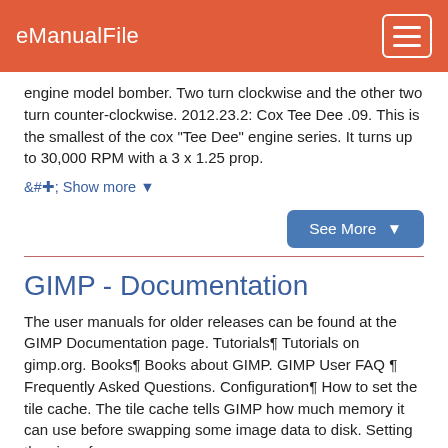eManualFile
engine model bomber. Two turn clockwise and the other two turn counter-clockwise. 2012.23.2: Cox Tee Dee .09. This is the smallest of the cox "Tee Dee" engine series. It turns up to 30,000 RPM with a 3 x 1.25 prop.
+ Show more
See More
GIMP - Documentation
The user manuals for older releases can be found at the GIMP Documentation page. Tutorials¶ Tutorials on gimp.org. Books¶ Books about GIMP. GIMP User FAQ ¶ Frequently Asked Questions. Configuration¶ How to set the tile cache. The tile cache tells GIMP how much memory it can use before swapping some image data to disk. Setting the size of ...
+ Show more
See More